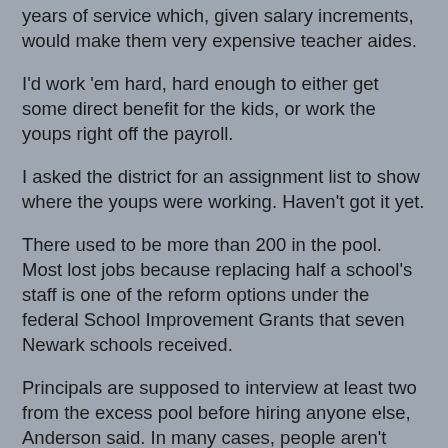years of service which, given salary increments, would make them very expensive teacher aides.
I'd work 'em hard, hard enough to either get some direct benefit for the kids, or work the youps right off the payroll.
I asked the district for an assignment list to show where the youps were working. Haven't got it yet.
There used to be more than 200 in the pool. Most lost jobs because replacing half a school's staff is one of the reform options under the federal School Improvement Grants that seven Newark schools received.
Principals are supposed to interview at least two from the excess pool before hiring anyone else, Anderson said. In many cases, people aren't hired because they don't fit the need -- too many English teachers, too few vacancies in English departments, for instance.
But I hear anecdotes, like the one about the principal who had open jobs and wanted to fill them to help students